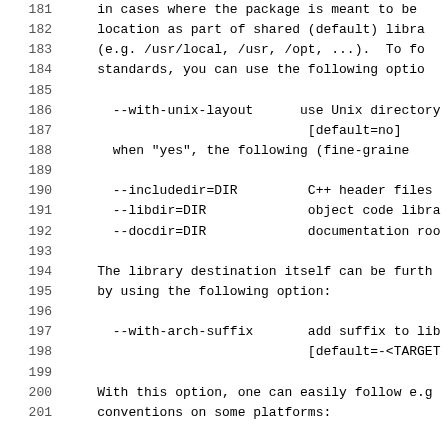181   in cases where the package is meant to be
182   location as part of shared (default) libra
183   (e.g. /usr/local, /usr, /opt, ...).  To fo
184   standards, you can use the following optio
185
186     --with-unix-layout      use Unix directory
187                               [default=no]
188     when "yes", the following (fine-graine
189
190     --includedir=DIR         C++ header files
191     --libdir=DIR             object code libra
192     --docdir=DIR             documentation roo
193
194   The library destination itself can be furth
195   by using the following option:
196
197     --with-arch-suffix       add suffix to lib
198                               [default=-<TARGET
199
200   With this option, one can easily follow e.g
201   conventions on some platforms: